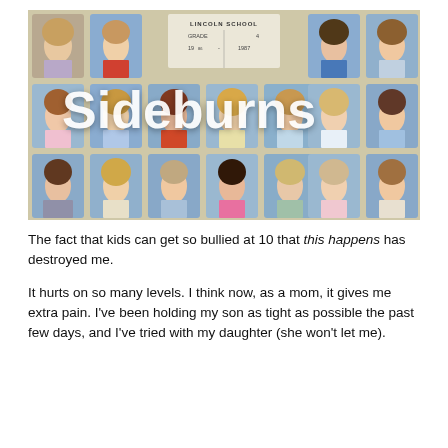[Figure (photo): Vintage school class photo from Lincoln School, Grade 4, 1986-1987, showing approximately 14 children's portrait photos arranged in 3 rows on a beige background. The word 'Sideburns' is overlaid in large white bold text across the middle of the image.]
The fact that kids can get so bullied at 10 that this happens has destroyed me.
It hurts on so many levels. I think now, as a mom, it gives me extra pain. I've been holding my son as tight as possible the past few days, and I've tried with my daughter (she won't let me).